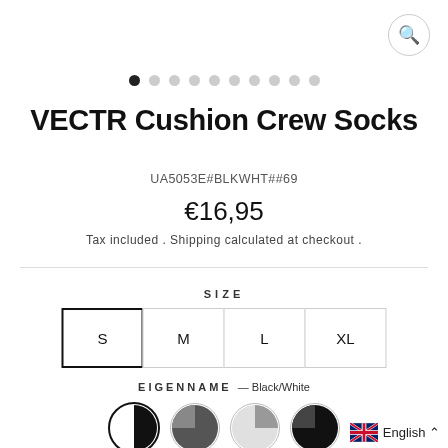[Figure (other): Search icon in circle, top right]
[Figure (other): Dot navigation row, 10 dots, first active]
VECTR Cushion Crew Socks
UA5053E#BLKWHT##69
€16,95
Tax included . Shipping calculated at checkout .
SIZE
S  M  L  XL
EIGENNAME — Black/White
[Figure (other): Four color swatch circles: Black/White selected, dark grey, light grey, black/dark]
QUANTITY
[Figure (other): Quantity input box with increment/decrement]
English